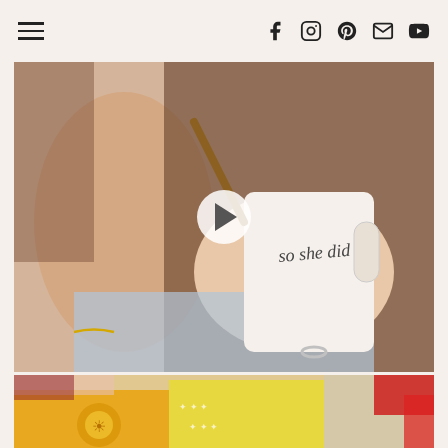Navigation header with hamburger menu and social icons (Facebook, Instagram, Pinterest, Email, YouTube)
[Figure (photo): Woman holding a white mug that reads 'so she did', wearing a ring and gold bracelet, denim jacket. Video play button overlay in center.]
[Figure (photo): Colorful fabric swatches including red patterned, floral, gold/yellow glittery, and natural linen fabrics arranged in a collage.]